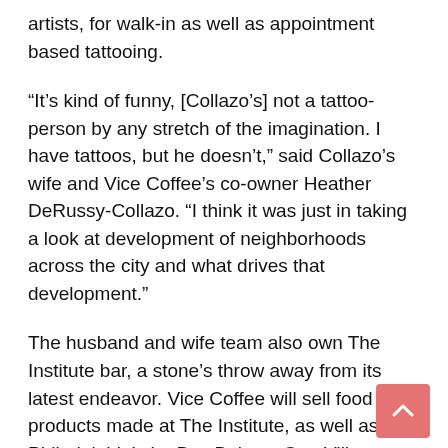artists, for walk-in as well as appointment based tattooing.
“It’s kind of funny, [Collazo’s] not a tattoo-person by any stretch of the imagination. I have tattoos, but he doesn’t,” said Collazo’s wife and Vice Coffee’s co-owner Heather DeRussy-Collazo. “I think it was just in taking a look at development of neighborhoods across the city and what drives that development.”
The husband and wife team also own The Institute bar, a stone’s throw away from its latest endeavor. Vice Coffee will sell food products made at The Institute, as well as Philadelphia’s Le Bus Bakery. One Village, based in Souderton, Pa., will supply the coffee.
In addition to the coffee and tattoo hybrid, Vice Coffee houses a new and used book collection. Several books